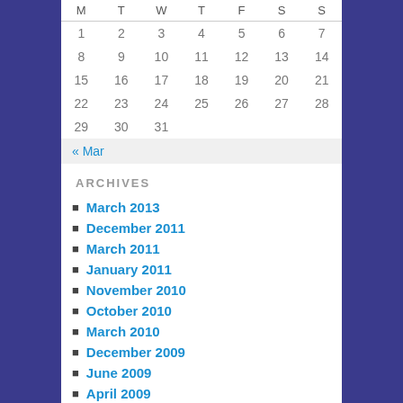| M | T | W | T | F | S | S |
| --- | --- | --- | --- | --- | --- | --- |
| 1 | 2 | 3 | 4 | 5 | 6 | 7 |
| 8 | 9 | 10 | 11 | 12 | 13 | 14 |
| 15 | 16 | 17 | 18 | 19 | 20 | 21 |
| 22 | 23 | 24 | 25 | 26 | 27 | 28 |
| 29 | 30 | 31 |  |  |  |  |
« Mar
ARCHIVES
March 2013
December 2011
March 2011
January 2011
November 2010
October 2010
March 2010
December 2009
June 2009
April 2009
March 2009
December 2008
October 2008